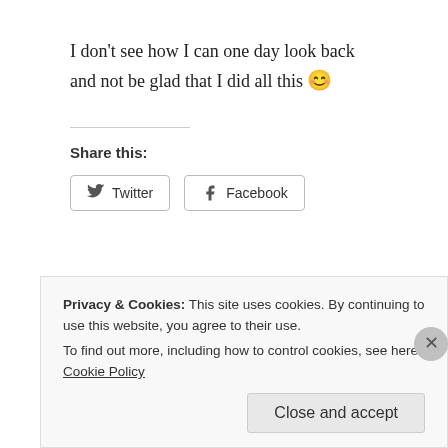I don't see how I can one day look back and not be glad that I did all this 😊
Share this:
[Figure (other): Share buttons for Twitter and Facebook]
Privacy & Cookies: This site uses cookies. By continuing to use this website, you agree to their use.
To find out more, including how to control cookies, see here: Cookie Policy